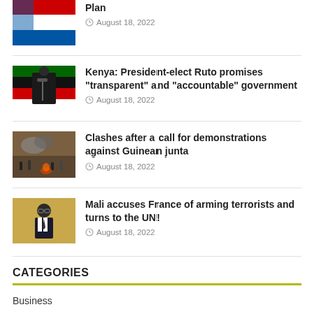[Figure (photo): Flag image thumbnail - partial view at top]
Plan
August 18, 2022
[Figure (photo): Photo of a man in a suit speaking at a podium with a Kenyan flag background]
Kenya: President-elect Ruto promises "transparent" and "accountable" government
August 18, 2022
[Figure (photo): Photo of clashes/protest scene with smoke and people]
Clashes after a call for demonstrations against Guinean junta
August 18, 2022
[Figure (photo): Portrait photo of a man in a suit and glasses against a yellow background]
Mali accuses France of arming terrorists and turns to the UN!
August 18, 2022
CATEGORIES
Business